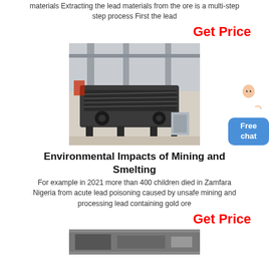materials Extracting the lead materials from the ore is a multi-step process First the lead
Get Price
[Figure (photo): Industrial vibrating screen / sieving machine in a factory setting]
Environmental Impacts of Mining and Smelting
For example in 2021 more than 400 children died in Zamfara Nigeria from acute lead poisoning caused by unsafe mining and processing lead containing gold ore
Get Price
[Figure (photo): Partial image of mining/smelting equipment, cut off at bottom of page]